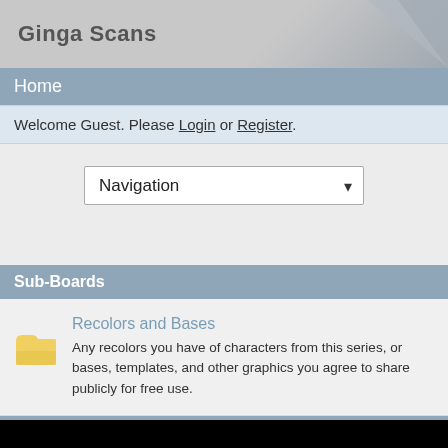Ginga Scans
Home
Welcome Guest. Please Login or Register.
[Figure (screenshot): Navigation dropdown selector]
Sub-Boards
Recolors and Bases
Any recolors you have of characters from this series, or bases, templates, and other graphics you agree to share publicly for free use.
Ginga Densetsu Weed
Create Thread
Search